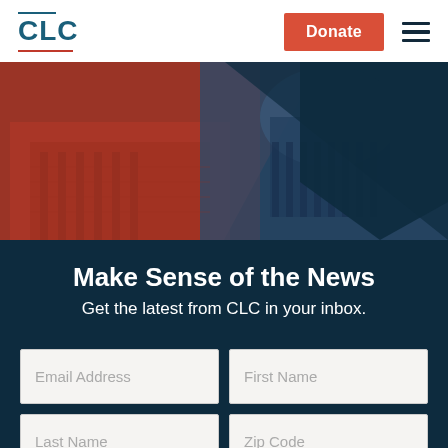CLC | Donate
[Figure (photo): US Capitol building with red and blue color overlay, triangular graphic design]
Make Sense of the News
Get the latest from CLC in your inbox.
Email Address | First Name | Last Name | Zip Code